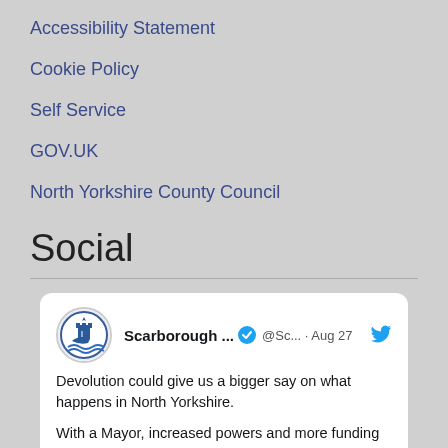Accessibility Statement
Cookie Policy
Self Service
GOV.UK
North Yorkshire County Council
Social
[Figure (screenshot): Embedded tweet from Scarborough Borough Council (@Sc...) dated Aug 27, with verified badge and Twitter bird icon. Text: 'Devolution could give us a bigger say on what happens in North Yorkshire. With a Mayor, increased powers and more funding we could:']